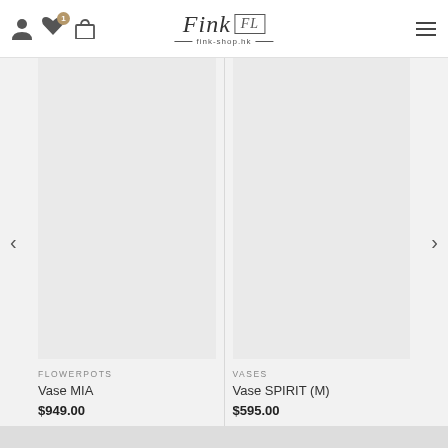[Figure (screenshot): Fink shop website header with user icon, heart icon with badge '1', shopping bag icon, Fink logo with fink-shop.hk URL, and hamburger menu icon]
[Figure (photo): Product image area for Vase MIA - light gray placeholder]
FLOWERPOTS
Vase MIA
$949.00
[Figure (photo): Product image area for Vase SPIRIT (M) - light gray placeholder]
VASES
Vase SPIRIT (M)
$595.00